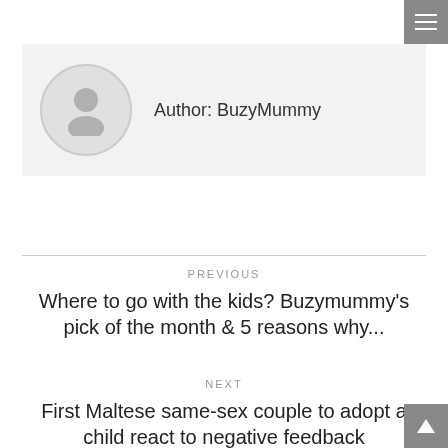[Figure (other): Hamburger menu icon button in dark gray]
[Figure (other): Author profile box with circular avatar placeholder icon and author name]
Author: BuzyMummy
PREVIOUS
Where to go with the kids? Buzymummy's pick of the month & 5 reasons why...
NEXT
First Maltese same-sex couple to adopt a child react to negative feedback
[Figure (other): Scroll-to-top button arrow icon in dark gray]